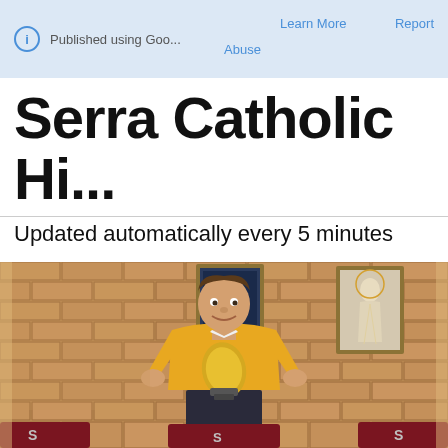Published using Goo...   Learn More   Report
Abuse
Serra Catholic Hi...
Updated automatically every 5 minutes
[Figure (photo): Young man in yellow sweatshirt holding a golden football trophy, standing in front of a brick wall with framed pictures including a religious image. Three dark red chairs visible at bottom of frame.]